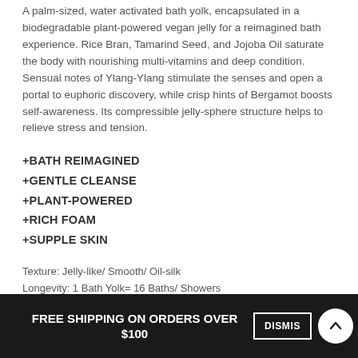A palm-sized, water activated bath yolk, encapsulated in a biodegradable plant-powered vegan jelly for a reimagined bath experience. Rice Bran, Tamarind Seed, and Jojoba Oil saturate the body with nourishing multi-vitamins and deep condition. Sensual notes of Ylang-Ylang stimulate the senses and open a portal to euphoric discovery, while crisp hints of Bergamot boosts self-awareness. Its compressible jelly-sphere structure helps to relieve stress and tension.
+BATH REIMAGINED
+GENTLE CLEANSE
+PLANT-POWERED
+RICH FOAM
+SUPPLE SKIN
Texture: Jelly-like/ Smooth/ Oil-silk
Longevity: 1 Bath Yolk= 16 Baths/ Showers
Siz...
FREE SHIPPING ON ORDERS OVER $100  DISMISS